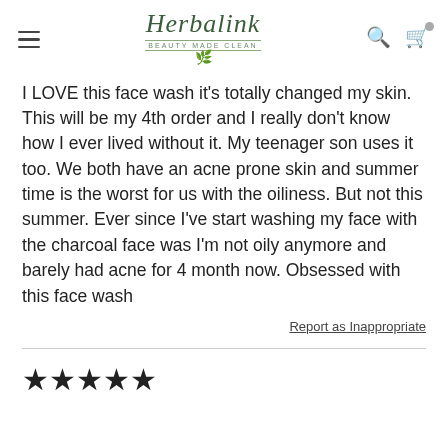Herbalink — Beauty Made Clean (navigation header with hamburger menu, search, and cart icons)
I LOVE this face wash it's totally changed my skin. This will be my 4th order and I really don't know how I ever lived without it. My teenager son uses it too. We both have an acne prone skin and summer time is the worst for us with the oiliness. But not this summer. Ever since I've start washing my face with the charcoal face was I'm not oily anymore and barely had acne for 4 month now. Obsessed with this face wash
Report as Inappropriate
[Figure (other): Five black star rating icons indicating a 5-star review]